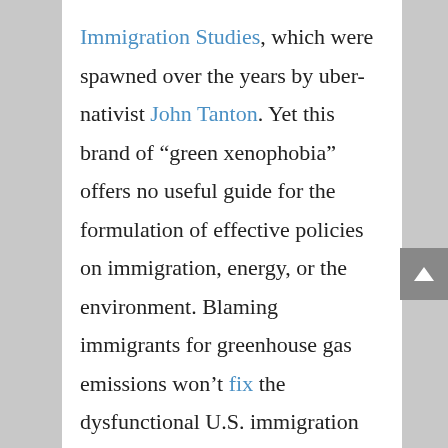Immigration Studies, which were spawned over the years by uber-nativist John Tanton. Yet this brand of “green xenophobia” offers no useful guide for the formulation of effective policies on immigration, energy, or the environment. Blaming immigrants for greenhouse gas emissions won’t fix the dysfunctional U.S. immigration system or reduce the U.S. economy’s dependence on polluting and non-renewable fossil fuels. The most that